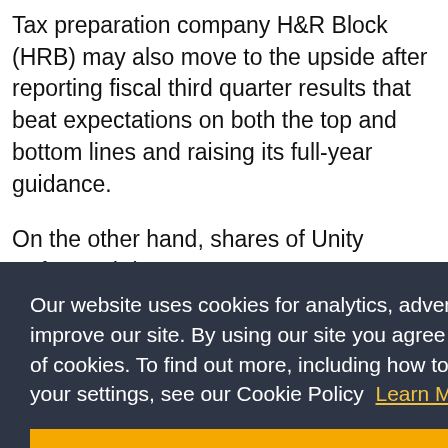Tax preparation company H&R Block (HRB) may also move to the upside after reporting fiscal third quarter results that beat expectations on both the top and bottom lines and raising its full-year guidance.
On the other hand, shares of Unity Software (U) are
he video
Our website uses cookies for analytics, advertising and to improve our site. By using our site you agree to our use of cookies. To find out more, including how to change your settings, see our Cookie Policy  Learn More
IN) may
OK
f  [Twitter]  [Email]  +